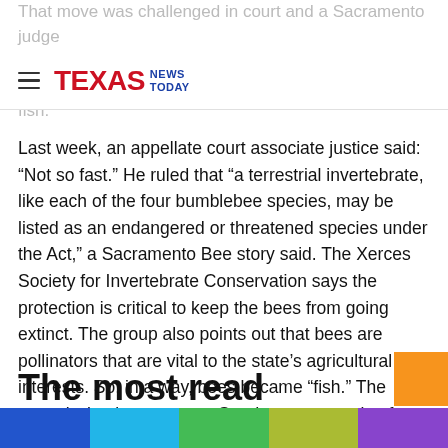That move was challenged in court and a Sacramento judge ruled the endangered species law only applied to invertebrates living in marine habitats, species like fish.
TEXAS NEWS TODAY
Last week, an appellate court associate justice said: “Not so fast.” He ruled that “a terrestrial invertebrate, like each of the four bumblebee species, may be listed as an endangered or threatened species under the Act,” a Sacramento Bee story said. The Xerces Society for Invertebrate Conservation says the protection is critical to keep the bees from going extinct. The group also points out that bees are pollinators that are vital to the state’s agricultural interests. So, in a way, bees became “fish.” The commission is set to vote Sunday on protection for the bees.
The most read